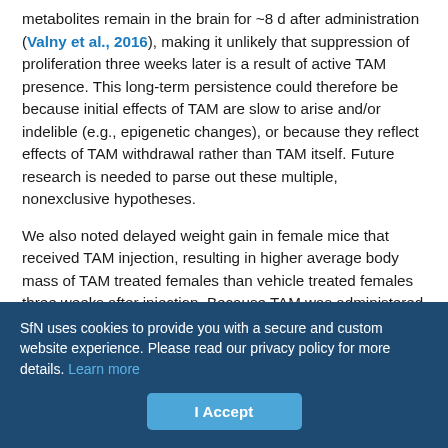metabolites remain in the brain for ~8 d after administration (Valny et al., 2016), making it unlikely that suppression of proliferation three weeks later is a result of active TAM presence. This long-term persistence could therefore be because initial effects of TAM are slow to arise and/or indelible (e.g., epigenetic changes), or because they reflect effects of TAM withdrawal rather than TAM itself. Future research is needed to parse out these multiple, nonexclusive hypotheses.
We also noted delayed weight gain in female mice that received TAM injection, resulting in higher average body mass of TAM treated females than vehicle treated females three weeks after injection. Because TAM was administered systemically, this delayed weight gain in female mice could be because of TAM effects on multiple
SfN uses cookies to provide you with a secure and custom website experience. Please read our privacy policy for more details. Learn more